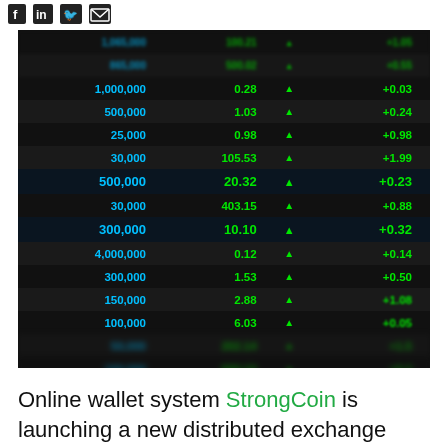Social media icons: Facebook, LinkedIn, Twitter, Email
[Figure (screenshot): Dark-background stock/crypto ticker board showing multiple rows of trading data. Columns: volume (cyan), price (green), up arrow (green triangle), change (green). Rows: 1,000,000 / 0.28 / ▲ / +0.03; 500,000 / 1.03 / ▲ / +0.24; 25,000 / 0.98 / ▲ / +0.98; 30,000 / 105.53 / ▲ / +1.99; 500,000 / 20.32 / ▲ / +0.23; 30,000 / 403.15 / ▲ / +0.88; 300,000 / 10.10 / ▲ / +0.32; 4,000,000 / 0.12 / ▲ / +0.14; 300,000 / 1.53 / ▲ / +0.50; 150,000 / 2.88 / ▲ / +1.08; 100,000 / 6.03 / ▲ / +0.05; 50,000 / 202.14 / ▲ / +1.5; 100,000 / 600.10 / ▲ / +0.2]
Online wallet system StrongCoin is launching a new distributed exchange